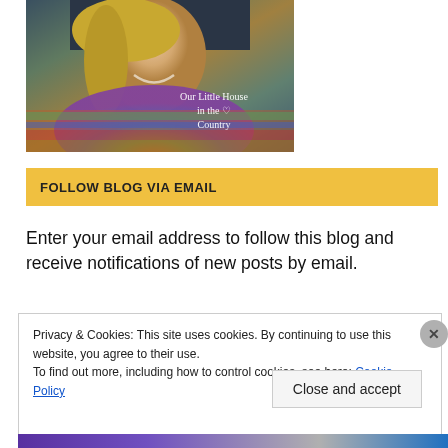[Figure (photo): Profile photo of a smiling woman with blonde braided hair wearing a colorful plaid scarf. Text overlay reads 'Our Little House in the Country' with a small heart icon.]
FOLLOW BLOG VIA EMAIL
Enter your email address to follow this blog and receive notifications of new posts by email.
Privacy & Cookies: This site uses cookies. By continuing to use this website, you agree to their use. To find out more, including how to control cookies, see here: Cookie Policy
Close and accept